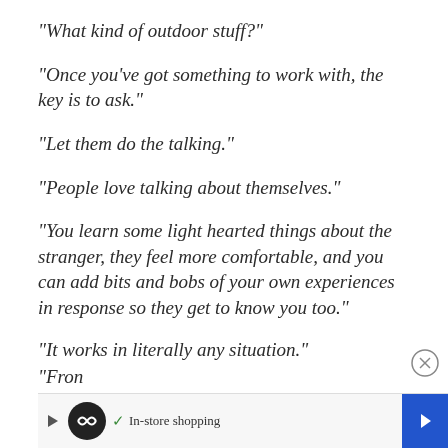"What kind of outdoor stuff?"
"Once you've got something to work with, the key is to ask."
"Let them do the talking."
"People love talking about themselves."
"You learn some light hearted things about the stranger, they feel more comfortable, and you can add bits and bobs of your own experiences in response so they get to know you too."
"It works in literally any situation."
"Fron
[Figure (other): Advertisement bar with logo, checkmark, 'In-store shopping' text, and navigation arrow]
[Figure (other): Close button (X in circle) overlaid on content]